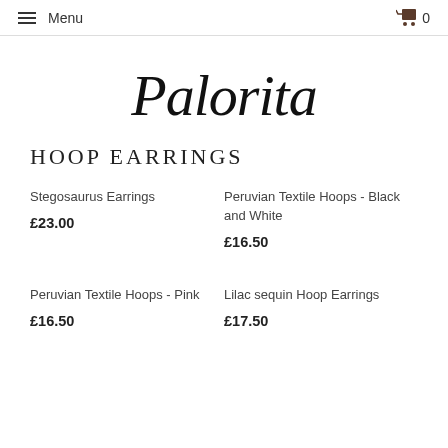Menu  0
[Figure (logo): Palorita handwritten cursive logo in black]
HOOP EARRINGS
Stegosaurus Earrings
£23.00
Peruvian Textile Hoops - Black and White
£16.50
Peruvian Textile Hoops - Pink
£16.50
Lilac sequin Hoop Earrings
£17.50